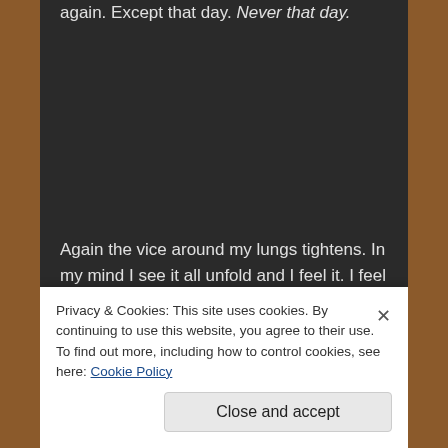again. Except that day. Never that day.
Again the vice around my lungs tightens. In my mind I see it all unfold and I feel it. I feel it all; fear, panic, despair.
Breathe, Anna.
In and out. In and out. Until I am here again, Pen gripped too tightly in my hand.
Privacy & Cookies: This site uses cookies. By continuing to use this website, you agree to their use.
To find out more, including how to control cookies, see here: Cookie Policy
Close and accept